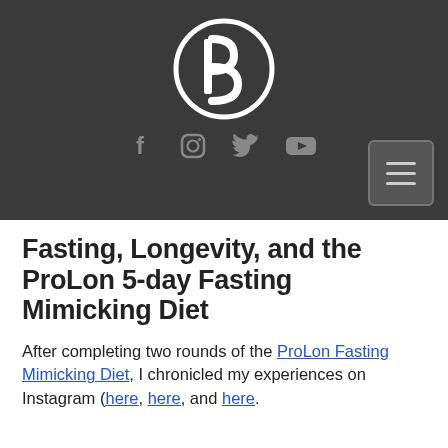[Figure (logo): Dark header bar with a circular logo containing the letter B, social media icons (Facebook, Instagram, Twitter, YouTube) in gray, and a hamburger menu button in the bottom right corner]
Fasting, Longevity, and the ProLon 5-day Fasting Mimicking Diet
After completing two rounds of the ProLon Fasting Mimicking Diet, I chronicled my experiences on Instagram (here, here, and here.